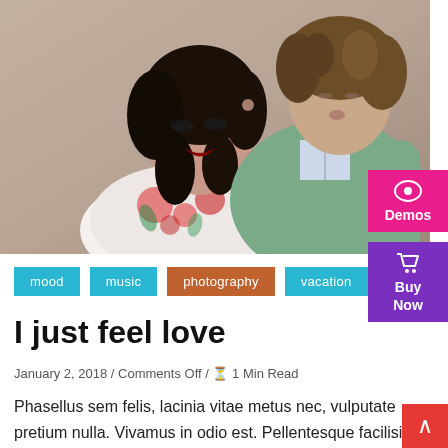[Figure (photo): A couple — a dark-haired woman in a floral dress with dramatic makeup and a young man in a green jacket kissing her cheek, against a neutral beige background.]
mood
music
photography
vacation
I just feel love
January 2, 2018 / Comments Off / ⏱ 1 Min Read
Phasellus sem felis, lacinia vitae metus nec, vulputate pretium nulla. Vivamus in odio est. Pellentesque facilisis dui ligula, iaculis mattis dui congue vel. Integer turpis